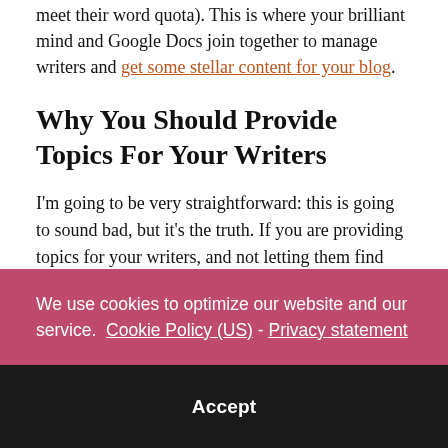meet their word quota). This is where your brilliant mind and Google Docs join together to manage writers and get some stellar content for your blog.
Why You Should Provide Topics For Your Writers
I'm going to be very straightforward: this is going to sound bad, but it's the truth. If you are providing topics for your writers, and not letting them find their own ideas, you can make it harder on your authors. This may sound, initially, like a negative, but it is actually good for
We use cookies to optimize our website and our service.  Cookie Policy (US)  -  Privacy statement
Accept
don't fault authors for not caring about bringing traffic to